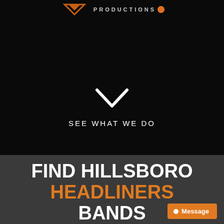PRODUCTIONS
[Figure (illustration): Chevron/down-arrow icon in white on dark background]
SEE WHAT WE DO
FIND HILLSBORO HEADLINERS BANDS
Message